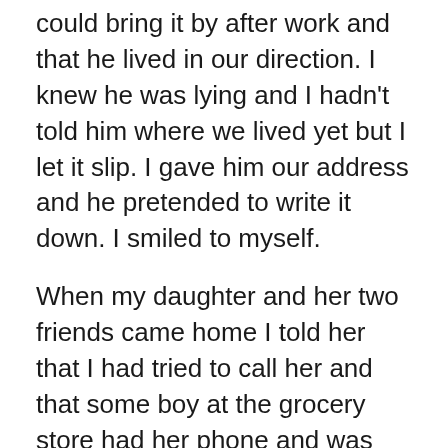could bring it by after work and that he lived in our direction. I knew he was lying and I hadn't told him where we lived yet but I let it slip. I gave him our address and he pretended to write it down. I smiled to myself.
When my daughter and her two friends came home I told her that I had tried to call her and that some boy at the grocery store had her phone and was going to bring it to her after three o'clock. She jumped for joy and ran off with her friends to her bedroom.
My wife asked what that was all about so I told her the complete story. She understood being a girl herself. Then she suggested that I keep an eye on the girls. I was going to do just that but it was a lot nicer having my wife tell me too. It sort of took away that voyeurism thing. I'm too old to be a Peeping Tom, I think!